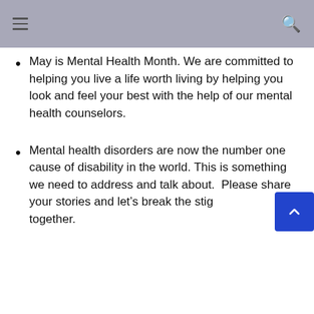May is Mental Health Month. We are committed to helping you live a life worth living by helping you look and feel your best with the help of our mental health counselors.
Mental health disorders are now the number one cause of disability in the world. This is something we need to address and talk about.  Please share your stories and let’s break the stigma together.